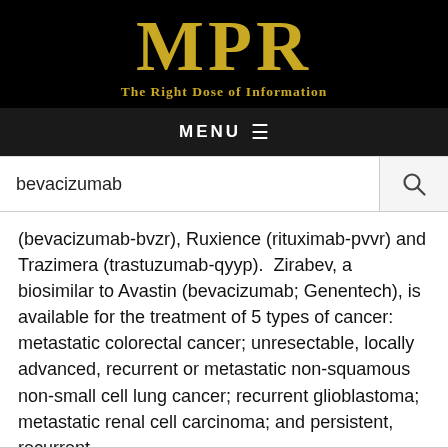MPR — The Right Dose of Information
MENU
bevacizumab
(bevacizumab-bvzr), Ruxience (rituximab-pvvr) and Trazimera (trastuzumab-qyyp).  Zirabev, a biosimilar to Avastin (bevacizumab; Genentech), is available for the treatment of 5 types of cancer: metastatic colorectal cancer; unresectable, locally advanced, recurrent or metastatic non-squamous non-small cell lung cancer; recurrent glioblastoma; metastatic renal cell carcinoma; and persistent, recurrent...